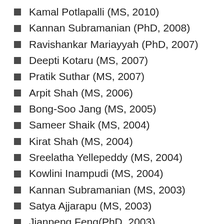Kamal Potlapalli (MS, 2010)
Kannan Subramanian (PhD, 2008)
Ravishankar Mariayyah (PhD, 2007)
Deepti Kotaru (MS, 2007)
Pratik Suthar (MS, 2007)
Arpit Shah (MS, 2006)
Bong-Soo Jang (MS, 2005)
Sameer Shaik (MS, 2004)
Kirat Shah (MS, 2004)
Sreelatha Yellepeddy (MS, 2004)
Kowlini Inampudi (MS, 2004)
Kannan Subramanian (MS, 2003)
Satya Ajjarapu (MS, 2003)
Jianpeng Feng(PhD, 2003)
Greg Watkins (PhD, 2002)
Xianwu Ling (PhD, 2002)